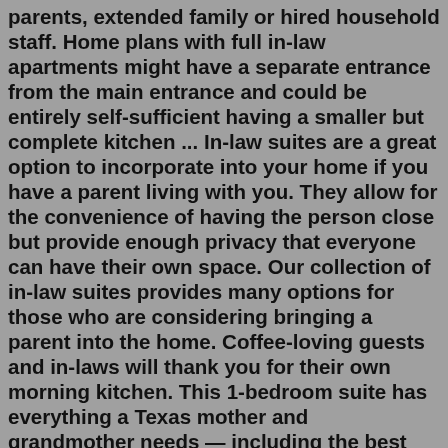parents, extended family or hired household staff. Home plans with full in-law apartments might have a separate entrance from the main entrance and could be entirely self-sufficient having a smaller but complete kitchen ... In-law suites are a great option to incorporate into your home if you have a parent living with you. They allow for the convenience of having the person close but provide enough privacy that everyone can have their own space. Our collection of in-law suites provides many options for those who are considering bringing a parent into the home. Coffee-loving guests and in-laws will thank you for their own morning kitchen. This 1-bedroom suite has everything a Texas mother and grandmother needs — including the best wake-up system money can't buy. Floor plans are invaluable in designing a home, but they can leave regular homeowners flummoxed. Here's help.Dec 06, 2018 · Mid-Sized Four-Bedroom Home with Two Masters on Main Floor. House Plan 9786 is a beautiful farmhouse with over 2,300 square feet of spacious living. The semi-